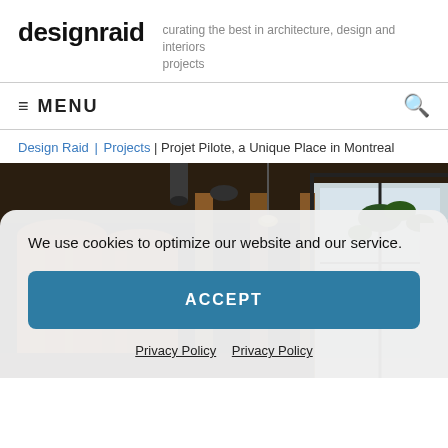designraid — curating the best in architecture, design and interiors projects
≡ MENU
Design Raid | Projects | Projet Pilote, a Unique Place in Montreal
[Figure (photo): Interior of a bar/brewery showing large copper distilling tanks, wooden columns, plants, and large windows with industrial ceiling.]
We use cookies to optimize our website and our service.
ACCEPT
Privacy Policy   Privacy Policy